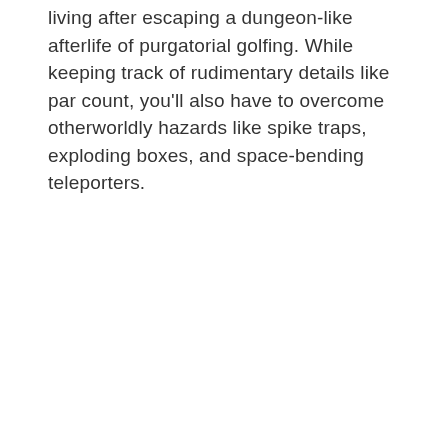living after escaping a dungeon-like afterlife of purgatorial golfing. While keeping track of rudimentary details like par count, you'll also have to overcome otherworldly hazards like spike traps, exploding boxes, and space-bending teleporters.